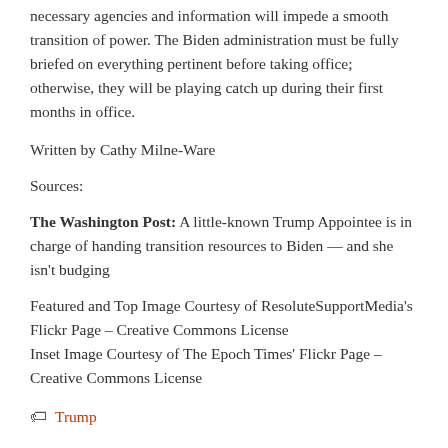necessary agencies and information will impede a smooth transition of power. The Biden administration must be fully briefed on everything pertinent before taking office; otherwise, they will be playing catch up during their first months in office.
Written by Cathy Milne-Ware
Sources:
The Washington Post: A little-known Trump Appointee is in charge of handing transition resources to Biden — and she isn't budging
Featured and Top Image Courtesy of ResoluteSupportMedia's Flickr Page – Creative Commons License
Inset Image Courtesy of The Epoch Times' Flickr Page – Creative Commons License
Trump